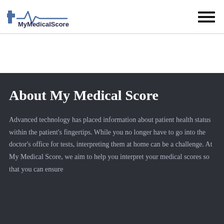[Figure (logo): MyMedicalScore logo with cross and heartbeat line graphic, blue and dark text]
About My Medical Score
Advanced technology has placed information about patient health status within the patient's fingertips. While you no longer have to go into the doctor's office for tests, interpreting them at home can be a challenge. At My Medical Score, we aim to help you interpret your medical scores so that you can ensure